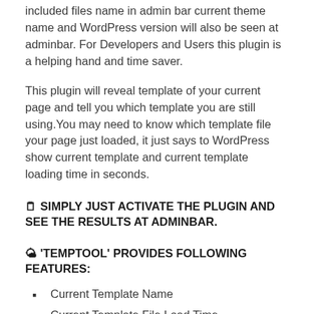included files name in admin bar current theme name and WordPress version will also be seen at adminbar. For Developers and Users this plugin is a helping hand and time saver.
This plugin will reveal template of your current page and tell you which template you are still using.You may need to know which template file your page just loaded, it just says to WordPress show current template and current template loading time in seconds.
🗒 SIMPLY JUST ACTIVATE THE PLUGIN AND SEE THE RESULTS AT ADMINBAR.
🌤 'TEMPTOOL' PROVIDES FOLLOWING FEATURES:
Current Template Name
Current Template File Load Time
Current Page ID